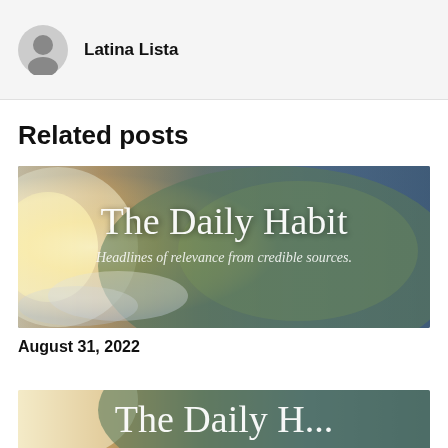Latina Lista
Related posts
[Figure (illustration): The Daily Habit banner image showing a globe view of North America from space with sunlight, text reads 'The Daily Habit' and 'Headlines of relevance from credible sources']
August 31, 2022
[Figure (illustration): Partial view of The Daily Habit banner image (bottom of page, cropped)]